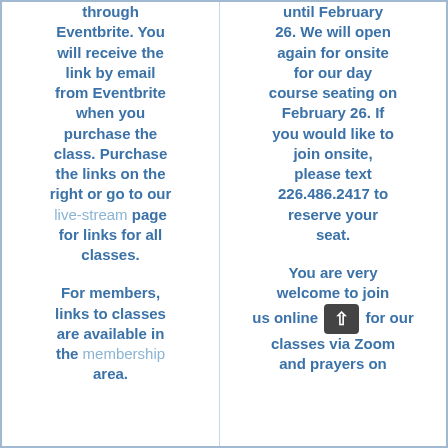through Eventbrite. You will receive the link by email from Eventbrite when you purchase the class. Purchase the links on the right or go to our live-stream page for links for all classes.
until February 26. We will open again for onsite for our day course seating on February 26. If you would like to join onsite, please text 226.486.2417 to reserve your seat.
For members, links to classes are available in the membership area.
You are very welcome to join us online for our classes via Zoom and prayers on